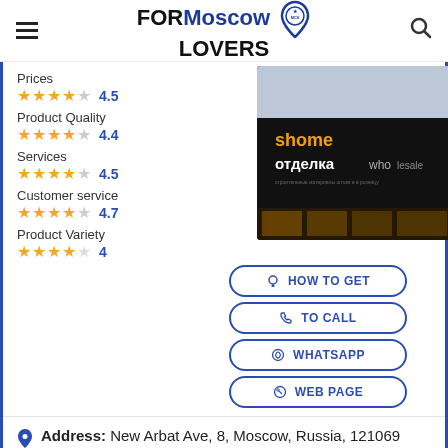FORMoscow LOVERS
Prices
★★★★☆ 4.5
Product Quality
★★★★☆ 4.4
Services
★★★★☆ 4.5
Customer service
★★★★☆ 4.7
Product Variety
★★★★☆ 4
[Figure (photo): Exterior photo of a shopping store with a large black facade displaying 'shome отделка wholesale' in orange and white text, city buildings visible in background]
HOW TO GET
TO CALL
WHATSAPP
WEB PAGE
Address: New Arbat Ave, 8, Moscow, Russia, 121069